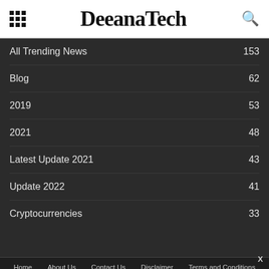DeeanaTech
All Trending News 153
Blog 62
2019 53
2021 48
Latest Update 2021 43
Update 2022 41
Cryptocurrencies 33
Home  About Us  Contact Us  Disclaimer  Terms and Conditions
© Copyrig...
According to the Prince of Serbia, all nations must  4 days ago